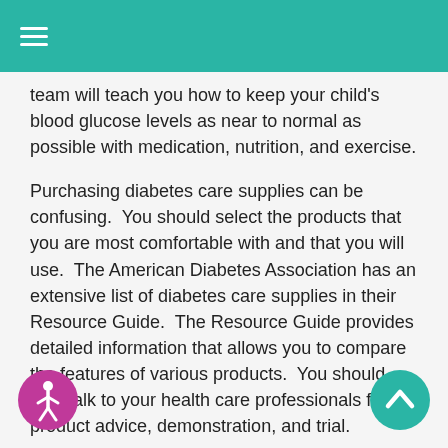≡
team will teach you how to keep your child's blood glucose levels as near to normal as possible with medication, nutrition, and exercise.
Purchasing diabetes care supplies can be confusing.  You should select the products that you are most comfortable with and that you will use.  The American Diabetes Association has an extensive list of diabetes care supplies in their Resource Guide.  The Resource Guide provides detailed information that allows you to compare the features of various products.  You should also talk to your health care professionals for product advice, demonstration, and trial.
You need to carefully follow your doctor's instructions for monitoring your child's blood glucose levels.  You will need to check your child's blood glucose levels throughout the day.  To test your child's blood glucose level, you will prick